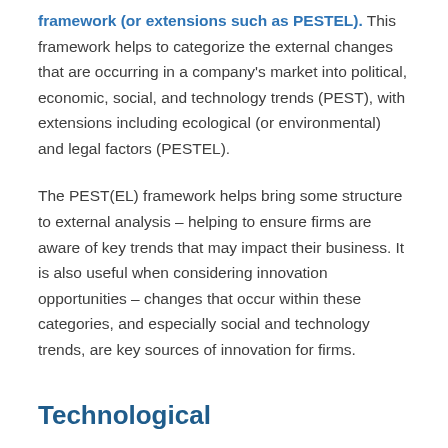framework (or extensions such as PESTEL). This framework helps to categorize the external changes that are occurring in a company's market into political, economic, social, and technology trends (PEST), with extensions including ecological (or environmental) and legal factors (PESTEL).
The PEST(EL) framework helps bring some structure to external analysis – helping to ensure firms are aware of key trends that may impact their business. It is also useful when considering innovation opportunities – changes that occur within these categories, and especially social and technology trends, are key sources of innovation for firms.
Technological
Changes occurring to broad technology are one of the most common sources of business innovations. While